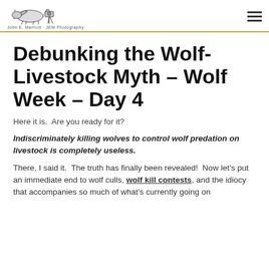John E. Marriott · JEM Photography
Debunking the Wolf-Livestock Myth – Wolf Week – Day 4
Here it is.  Are you ready for it?
Indiscriminately killing wolves to control wolf predation on livestock is completely useless.
There, I said it.  The truth has finally been revealed!  Now let’s put an immediate end to wolf culls, wolf kill contests, and the idiocy that accompanies so much of what’s currently going on